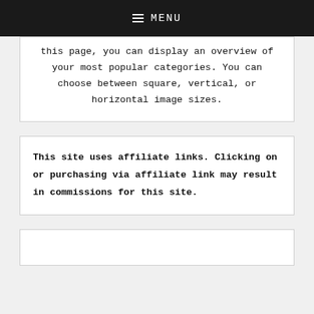MENU
this page, you can display an overview of your most popular categories. You can choose between square, vertical, or horizontal image sizes.
This site uses affiliate links. Clicking on or purchasing via affiliate link may result in commissions for this site.